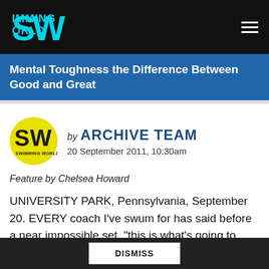SWIMMING WORLD
Mental Toughness the Difference Between Good and Great
by ARCHIVE TEAM
20 September 2011, 10:30am
Feature by Chelsea Howard
UNIVERSITY PARK, Pennsylvania, September 20. EVERY coach I've swum for has said before a near impossible set, "this is what's going to make the difference between
DISMISS